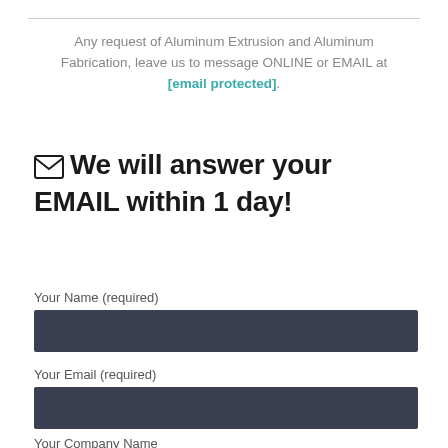Any request of Aluminum Extrusion and Aluminum Fabrication, leave us to message ONLINE or EMAIL at [email protected].
We will answer your EMAIL within 1 day!
Your Name (required)
Your Email (required)
Your Company Name